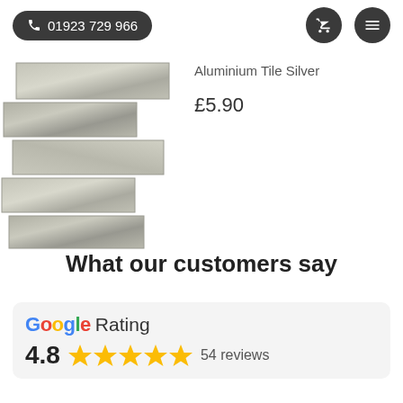📞 01923 729 966
[Figure (photo): Aluminium tile silver mosaic product photo showing brushed silver metallic rectangular tiles arranged in a brick pattern]
Aluminium Tile Silver
£5.90
What our customers say
Google Rating 4.8 ★★★★★ 54 reviews